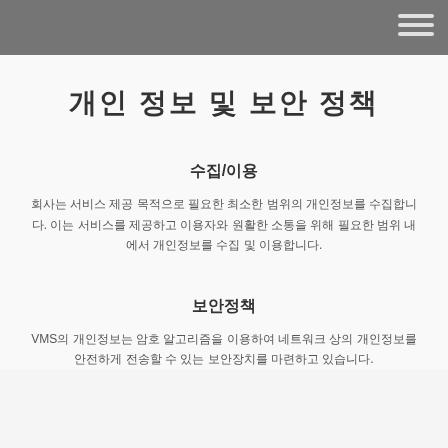개인 정보 및 보안 정책
수집/이용
회사는 서비스 제공 목적으로 필요한 최소한 범위의 개인정보를 수집합니다. 이는 서비스를 제공하고 이용자와 원활한 소통을 위해 필요한 범위 내에서 개인정보를 수집 및 이용합니다.
보안정책
VMS의 개인정보는 암호 알고리즘을 이용하여 네트워크 상의 개인정보를 안전하게 전송할 수 있는 보안장치를 마련하고 있습니다.